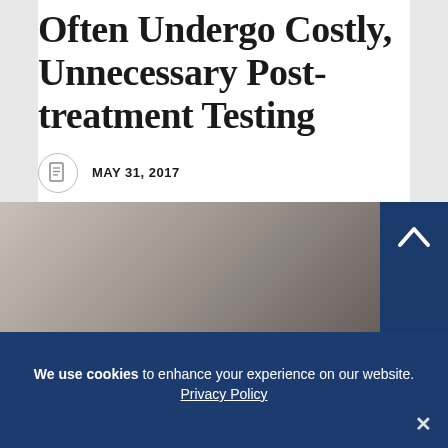Often Undergo Costly, Unnecessary Post-treatment Testing
MAY 31, 2017
BY INÊS MARTINS PHD
IN NEWS.
[Figure (photo): Cropped photo of a person, dark-toned, partially visible]
We use cookies to enhance your experience on our website. Privacy Policy